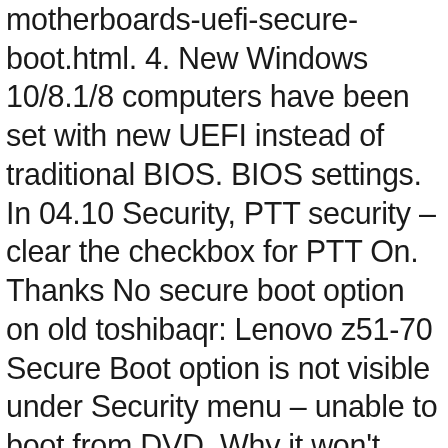motherboards-uefi-secure-boot.html. 4. New Windows 10/8.1/8 computers have been set with new UEFI instead of traditional BIOS. BIOS settings. In 04.10 Security, PTT security – clear the checkbox for PTT On. Thanks No secure boot option on old toshibaqr: Lenovo z51-70 Secure Boot option is not visible under Security menu – unable to boot from DVD. Why it won't work in Legacy/MBR: It won't work in Legacy because it is a UEFI only card. Refer to: http://support.hp.com/us-en/document/c04784866. Disable secure boot in the boot options screen. In boot tab both legacy and uefi options are blank. And directly disable secure boot under it. You may not see a Boot tab in your BIOS. 1. To disable Secure Boot, you should follow the steps below: Step 1: Tap F2 or F12 key on the Dell logo or hold down F2 or F12 just after you start up your Dell laptop (At this point the screen is still black.) For Ventoy2Disk.exe in menu Option-->Secure Boot for Ventoy2Disk.sh it's -s